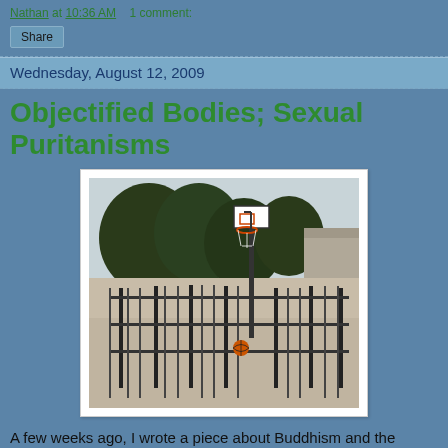Nathan at 10:36 AM    1 comment:
Share
Wednesday, August 12, 2009
Objectified Bodies; Sexual Puritanisms
[Figure (photo): Outdoor basketball court with metal fence in foreground, basketball hoop visible, trees in background, concrete court surface, overcast sky.]
A few weeks ago, I wrote a piece about Buddhism and the